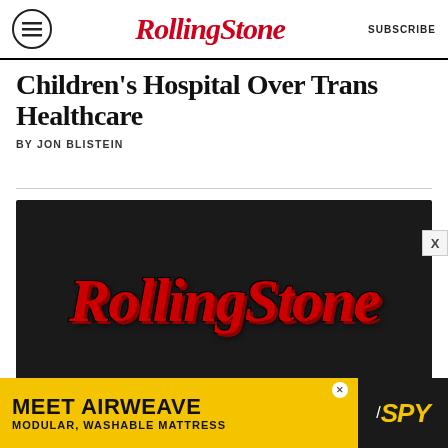RollingStone — SUBSCRIBE
Children's Hospital Over Trans Healthcare
BY JON BLISTEIN
[Figure (logo): Rolling Stone logo on dark background — large red italic script text 'RollingStone' with dark shadow on near-black background]
[Figure (infographic): Advertisement banner: MEET AIRWEAVE / MODULAR, WASHABLE MATTRESS with SPY logo on yellow background]